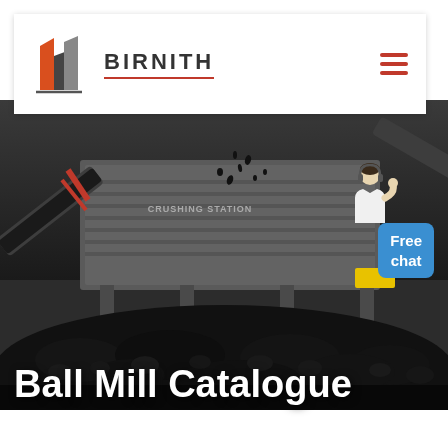[Figure (logo): Birnith company logo with orange and dark building icon]
BIRNITH
[Figure (photo): Industrial crushing station machinery with coal/aggregate material piled in foreground, dark and gritty industrial scene]
Ball Mill Catalogue
Free chat